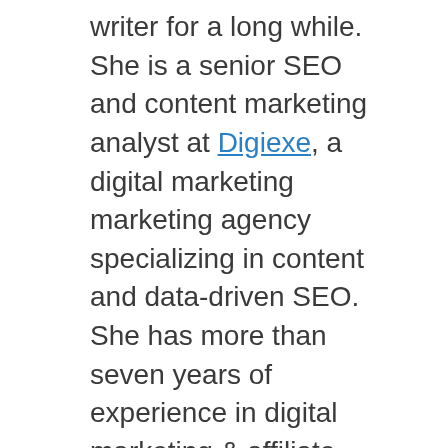writer for a long while. She is a senior SEO and content marketing analyst at Digiexe, a digital marketing marketing agency specializing in content and data-driven SEO. She has more than seven years of experience in digital marketing & affiliate marketing too. She likes sharing her knowledge in a wide range of domains ranging from ecommerce, startups, social media marketing, make money online, affiliate marketing to human capital management, and much more. She has been writing for several authoritative SEO, Make Money Online & digital marketing blogs like :